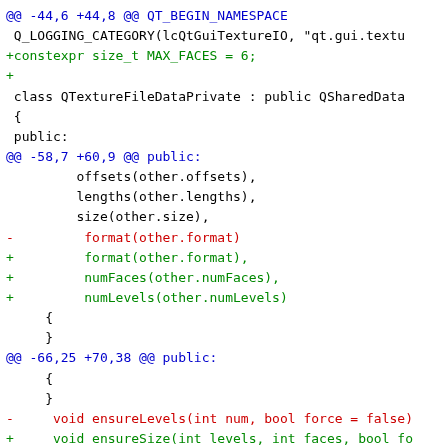Code diff showing changes to QTextureFileDataPrivate class including MAX_FACES constant addition, format/numFaces/numLevels initializer changes, ensureLevels replaced by ensureSize, and related buffer resize operations.